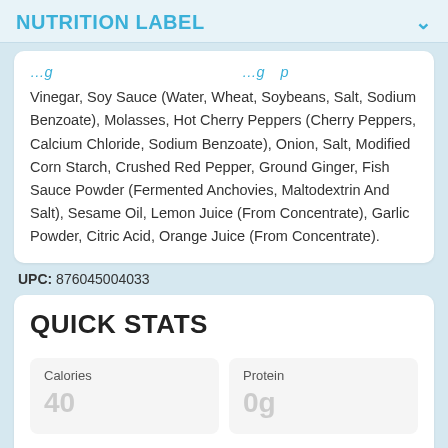NUTRITION LABEL
Vinegar, Soy Sauce (Water, Wheat, Soybeans, Salt, Sodium Benzoate), Molasses, Hot Cherry Peppers (Cherry Peppers, Calcium Chloride, Sodium Benzoate), Onion, Salt, Modified Corn Starch, Crushed Red Pepper, Ground Ginger, Fish Sauce Powder (Fermented Anchovies, Maltodextrin And Salt), Sesame Oil, Lemon Juice (From Concentrate), Garlic Powder, Citric Acid, Orange Juice (From Concentrate).
UPC: 876045004033
QUICK STATS
Calories
40
Protein
0g